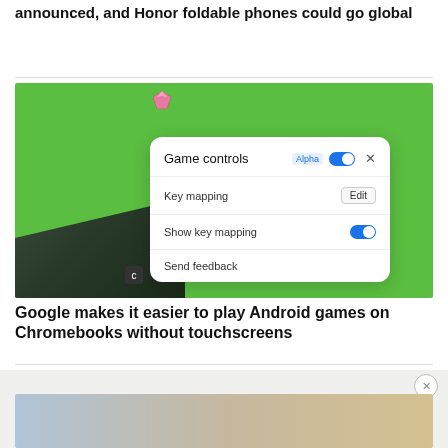announced, and Honor foldable phones could go global
[Figure (screenshot): Screenshot of Android game controls popup on Chromebook showing 'Game controls Alpha' toggle enabled, Key mapping with Edit button, Show key mapping toggle on, and Send feedback option. Green game background with pink gem visible.]
Google makes it easier to play Android games on Chromebooks without touchscreens
[Figure (photo): Advertisement image partially visible at bottom of page with close X button]